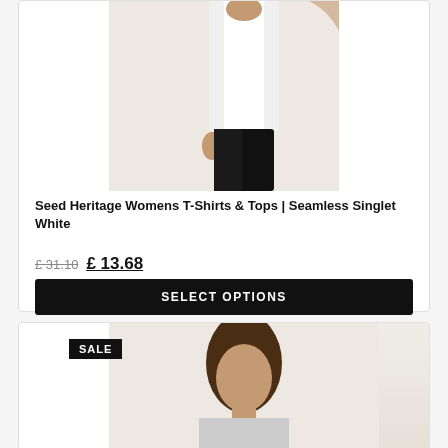[Figure (photo): Woman wearing a white seamless singlet top with black pants, product shot on beige/off-white background]
Seed Heritage Womens T-Shirts & Tops | Seamless Singlet White
£ 31.10  £ 13.68
SELECT OPTIONS
[Figure (photo): Second product listing showing a woman model, with a SALE badge overlay]
SALE